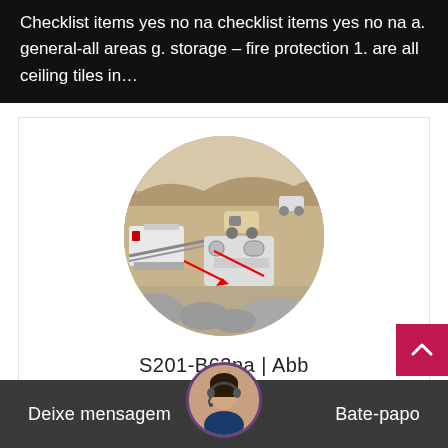Checklist items yes no na checklist items yes no na a. general-all areas g. storage – fire protection 1. are all ceiling tiles in…
[Figure (photo): Aerial/overhead view of a mining or quarrying site showing heavy machinery, conveyor equipment, and a loader/bulldozer on a rocky terrain with hills in the background. Red annotation lines are drawn on the image.]
S201-B63na | Abb
[Figure (photo): Chat widget avatar: a woman wearing a headset, shown in a circular frame with a purple border.]